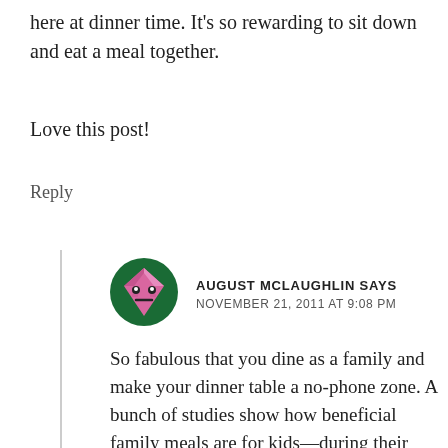here at dinner time. It's so rewarding to sit down and eat a meal together.
Love this post!
Reply
[Figure (illustration): Avatar icon: a cartoon diamond/gem shape in pink with a face, on a dark green circular background]
AUGUST MCLAUGHLIN SAYS
NOVEMBER 21, 2011 AT 9:08 PM
So fabulous that you dine as a family and make your dinner table a no-phone zone. A bunch of studies show how beneficial family meals are for kids—during their youth and into adulthood. Fun for us adult-folk, too. 🙂